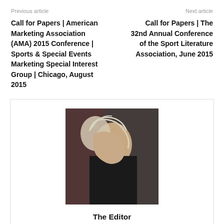Previous article | Next article
Call for Papers | American Marketing Association (AMA) 2015 Conference | Sports & Special Events Marketing Special Interest Group | Chicago, August 2015
Call for Papers | The 32nd Annual Conference of the Sport Literature Association, June 2015
[Figure (photo): Profile photo of a man with silver-blonde hair wearing a dark shirt, shown from the side in a portrait orientation]
The Editor